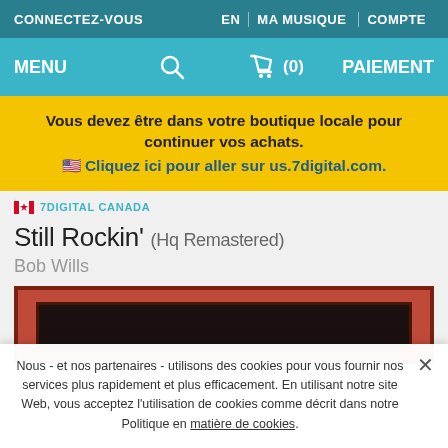CONNECTEZ-VOUS | EN | MA MUSIQUE | COMPTE
MENU | search | cart (0) | PAIEMENT
Vous devez être dans votre boutique locale pour continuer vos achats. 🇺🇸 Cliquez ici pour aller sur us.7digital.com.
🇨🇦 7DIGITAL CANADA
Still Rockin' (Hq Remastered)
Bob Wills
[Figure (illustration): Album cover art showing a dark red background with a black inner rectangle - partially visible at bottom]
Nous - et nos partenaires - utilisons des cookies pour vous fournir nos services plus rapidement et plus efficacement. En utilisant notre site Web, vous acceptez l'utilisation de cookies comme décrit dans notre Politique en matière de cookies.